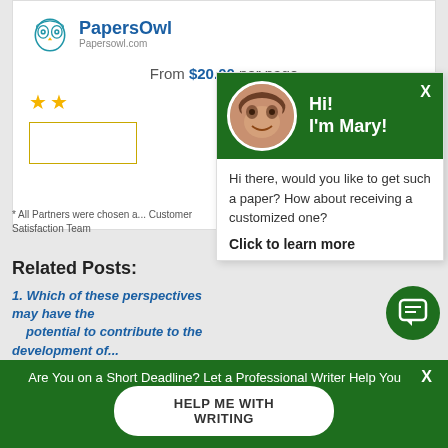[Figure (logo): PapersOwl logo with owl icon and brand name]
From $20.00 per page
[Figure (other): Two yellow star rating icons]
[Figure (screenshot): Chat popup overlay with Mary avatar, green header saying Hi! I'm Mary!, and chat text: Hi there, would you like to get such a paper? How about receiving a customized one? Click to learn more]
* All Partners were chosen a... Customer Satisfaction Team
Related Posts:
1. Which of these perspectives may have the potential to contribute to the development of...
Are You on a Short Deadline? Let a Professional Writer Help You
HELP ME WITH WRITING